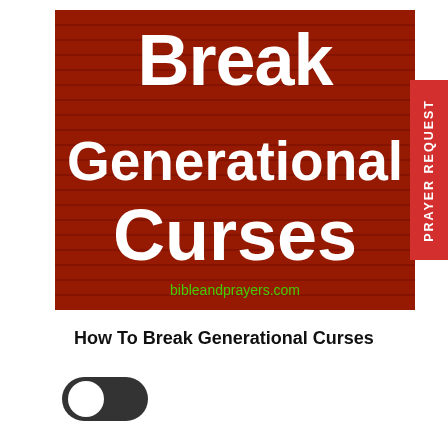[Figure (illustration): Red textured background with white bold text reading 'Break Generational Curses' and green URL text 'bibleandprayers.com' at the bottom of the image. A red vertical tab on the right reads 'PRAYER REQUEST' rotated 90 degrees.]
How To Break Generational Curses
[Figure (other): Dark mode toggle switch button (toggle in off position showing white circle on left, dark/moon icon on right side of track)]